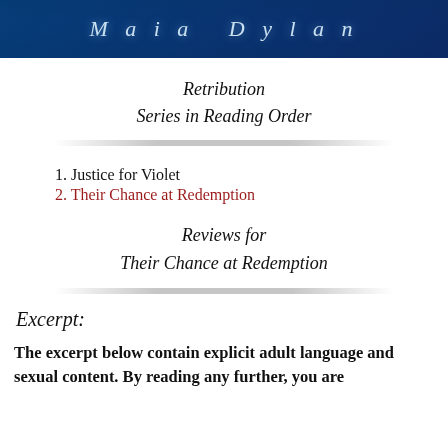[Figure (illustration): Dark blue banner with author name 'Maia Dylan' in italic spaced text]
Retribution
Series in Reading Order
1. Justice for Violet
2. Their Chance at Redemption
Reviews for
Their Chance at Redemption
Excerpt:
The excerpt below contain explicit adult language and sexual content. By reading any further, you are